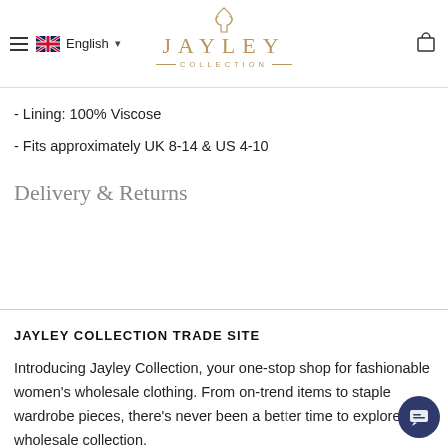Jayley Collection — English — header navigation
- Lining: 100% Viscose
- Fits approximately UK 8-14 & US 4-10
Delivery & Returns
JAYLEY COLLECTION TRADE SITE
Introducing Jayley Collection, your one-stop shop for fashionable women's wholesale clothing. From on-trend items to staple wardrobe pieces, there's never been a better time to explore our wholesale collection.